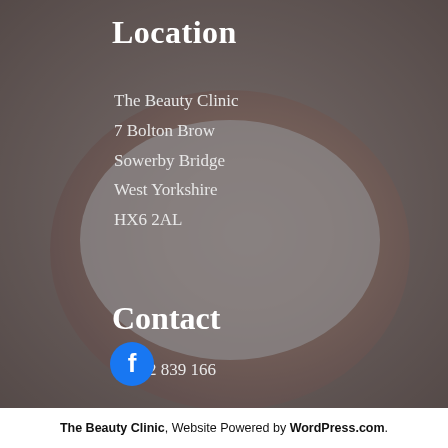[Figure (photo): Background photo of a woman receiving a facial treatment with a brush applying white mask, with a dark semi-transparent overlay]
Location
The Beauty Clinic
7 Bolton Brow
Sowerby Bridge
West Yorkshire
HX6 2AL
Contact
01422 839 166
[Figure (logo): Facebook icon — white 'f' on blue circle background]
The Beauty Clinic, Website Powered by WordPress.com.